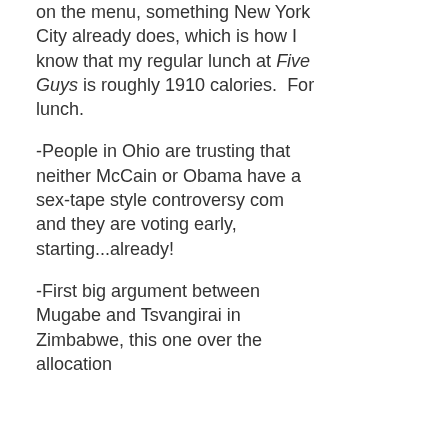on the menu, something New York City already does, which is how I know that my regular lunch at Five Guys is roughly 1910 calories.  For lunch.
-People in Ohio are trusting that neither McCain or Obama have a sex-tape style controversy com and they are voting early, starting...already!
-First big argument between Mugabe and Tsvangirai in Zimbabwe, this one over the allocation